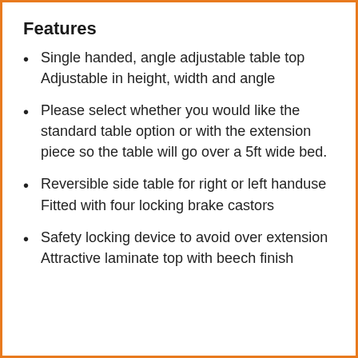Features
Single handed, angle adjustable table top Adjustable in height, width and angle
Please select whether you would like the standard table option or with the extension piece so the table will go over a 5ft wide bed.
Reversible side table for right or left handuse Fitted with four locking brake castors
Safety locking device to avoid over extension Attractive laminate top with beech finish